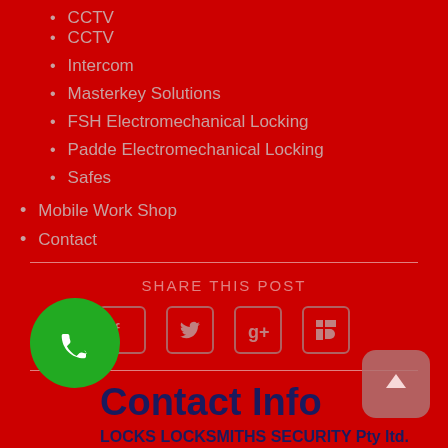CCTV
Intercom
Masterkey Solutions
FSH Electromechanical Locking
Padde Electromechanical Locking
Safes
Mobile Work Shop
Contact
SHARE THIS POST
[Figure (infographic): Social media share icons: Facebook, Twitter, Google+, LinkedIn]
Contact Info
LOCKS LOCKSMITHS SECURITY Pty ltd.
ABN:52 134 236 865